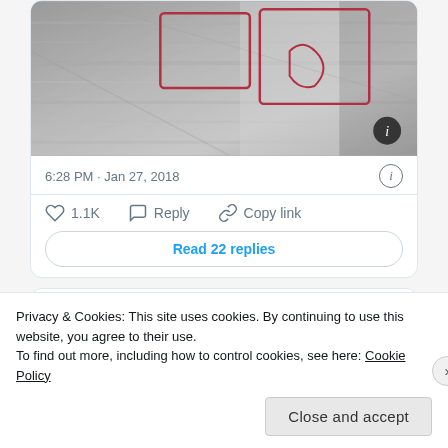[Figure (screenshot): Satellite/aerial grayscale image with red drawn outlines marking rectangular areas on the ground]
6:28 PM · Jan 27, 2018
♡ 1.1K   Reply   Copy link
Read 22 replies
Tobias Schneider · Jan 27, 2018 @tobiaschneider · Follow
Privacy & Cookies: This site uses cookies. By continuing to use this website, you agree to their use.
To find out more, including how to control cookies, see here: Cookie Policy
Close and accept